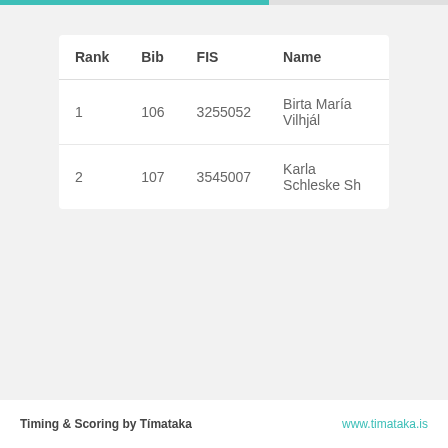| Rank | Bib | FIS | Name |
| --- | --- | --- | --- |
| 1 | 106 | 3255052 | Birta María Vilhjál |
| 2 | 107 | 3545007 | Karla Schleske Sh |
Timing & Scoring by Tímataka    www.timataka.is